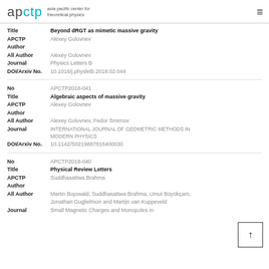apctp asia pacific center for theoretical physics
| Title | Beyond dRGT as mimetic massive gravity |
| APCTP Author | Alexey Golovnev |
| All Author | Alexey Golovnev |
| Journal | Physics Letters B |
| DOI/Arxiv No. | 10.1016/j.physletb.2018.02.044 |
| No | APCTP2018-041 |
| Title | Algebraic aspects of massive gravity |
| APCTP Author | Alexey Golovnev |
| All Author | Alexey Golovnev, Fedor Smirnov |
| Journal | INTERNATIONAL JOURNAL OF GEOMETRIC METHODS IN MODERN PHYSICS |
| DOI/Arxiv No. | 10.1142/S0219887818400030 |
| No | APCTP2018-040 |
| Title | Physical Review Letters |
| APCTP Author | Suddhasattwa Brahma |
| All Author | Martin Bojowald, Suddhasattwa Brahma, Umut Büyükçam, Jonathan Guglielmon and Martijn van Kuppeveld |
| Journal | Small Magnetic Charges and Monopoles in |